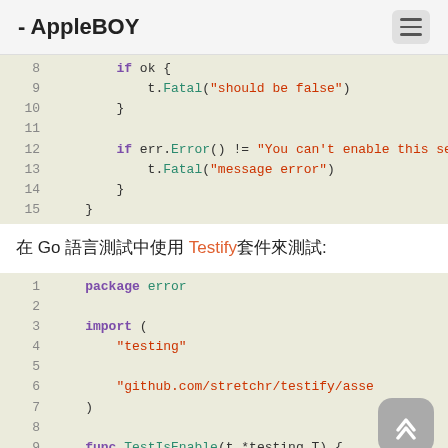- AppleBOY
8  if ok {
9    t.Fatal("should be false")
10  }
11
12  if err.Error() != "You can't enable this set
13    t.Fatal("message error")
14  }
15  }
在 Go 語言測試中使用 Testify套件來測試:
1  package error
2
3  import (
4    "testing"
5
6    "github.com/stretchr/testify/asse
7  )
8
9  func TestIsEnable(t *testing.T) {